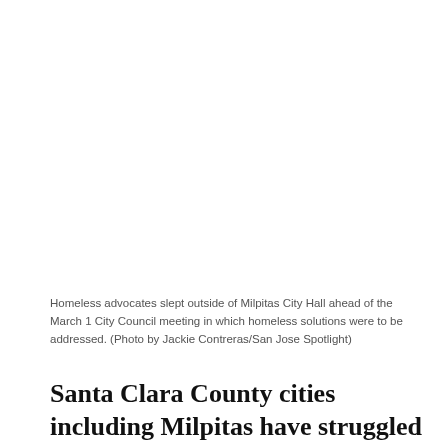[Figure (photo): Blank/white photo area — photograph of homeless advocates sleeping outside Milpitas City Hall ahead of the March 1 City Council meeting]
Homeless advocates slept outside of Milpitas City Hall ahead of the March 1 City Council meeting in which homeless solutions were to be addressed. (Photo by Jackie Contreras/San Jose Spotlight)
Santa Clara County cities including Milpitas have struggled with a growing homeless crisis even before